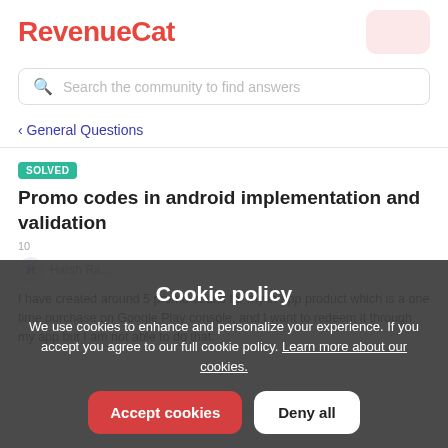RevenueCat
Search the community to find answers
< General Questions
SOLVED
Promo codes in android implementation and validation
10
Harsh Ra...
I have created around 5 promo codes for my in app product which is a one time purchase on Google Play console, and I want to redeem it through my app but I am not able to do that.
Cookie policy
We use cookies to enhance and personalize your experience. If you accept you agree to our full cookie policy. Learn more about our cookies.
Accept cookies
Deny all
Cookie settings